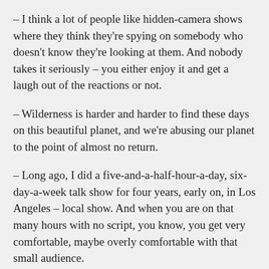– I think a lot of people like hidden-camera shows where they think they're spying on somebody who doesn't know they're looking at them. And nobody takes it seriously – you either enjoy it and get a laugh out of the reactions or not.
– Wilderness is harder and harder to find these days on this beautiful planet, and we're abusing our planet to the point of almost no return.
– Long ago, I did a five-and-a-half-hour-a-day, six-day-a-week talk show for four years, early on, in Los Angeles – local show. And when you are on that many hours with no script, you know, you get very comfortable, maybe overly comfortable with that small audience.
– It's a little-known fact that one in three family pets